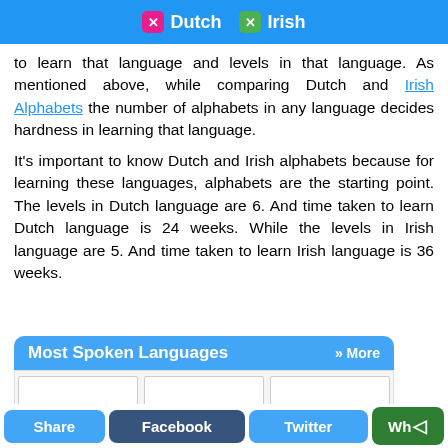Dutch | Irish
to learn that language and levels in that language. As mentioned above, while comparing Dutch and Irish Alphabets the number of alphabets in any language decides hardness in learning that language.
It's important to know Dutch and Irish alphabets because for learning these languages, alphabets are the starting point. The levels in Dutch language are 6. And time taken to learn Dutch language is 24 weeks. While the levels in Irish language are 5. And time taken to learn Irish language is 36 weeks.
Most Spoken Languages » More
[Figure (screenshot): Three loading cards showing 'Loading...' placeholder content]
Share | Facebook | Twitter | WhatsApp